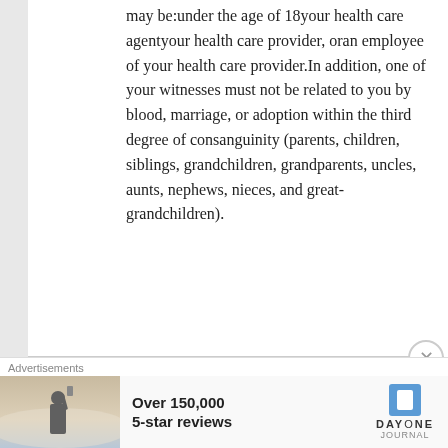may be:under the age of 18your health care agentyour health care provider, oran employee of your health care provider.In addition, one of your witnesses must not be related to you by blood, marriage, or adoption within the third degree of consanguinity (parents, children, siblings, grandchildren, grandparents, uncles, aunts, nephews, nieces, and great-grandchildren).
Kansas  Declaration Must be signed by two witnesses or notarized. Neither of your witnesses may be:under the age of 18the person who signed your
Advertisements  Over 150,000 5-star reviews  DAYONE JOURNAL